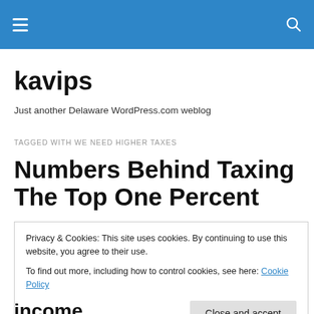kavips — navigation header bar
kavips
Just another Delaware WordPress.com weblog
TAGGED WITH WE NEED HIGHER TAXES
Numbers Behind Taxing The Top One Percent
Privacy & Cookies: This site uses cookies. By continuing to use this website, you agree to their use.
To find out more, including how to control cookies, see here: Cookie Policy
income